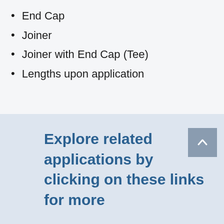End Cap
Joiner
Joiner with End Cap (Tee)
Lengths upon application
Explore related applications by clicking on these links for more